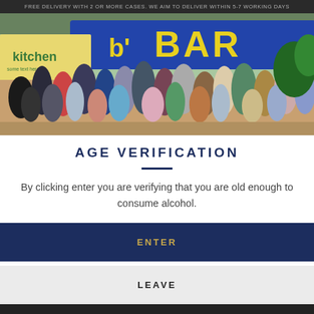FREE DELIVERY WITH 2 OR MORE CASES. WE AIM TO DELIVER WITHIN 5-7 WORKING DAYS
[Figure (photo): Outdoor festival crowd scene in front of a blue bar shipping container with large yellow 'BAR' lettering and a kitchen stand visible on the left]
AGE VERIFICATION
By clicking enter you are verifying that you are old enough to consume alcohol.
ENTER
LEAVE
OFFICIAL MULLER CIDER OF HYDE PARK